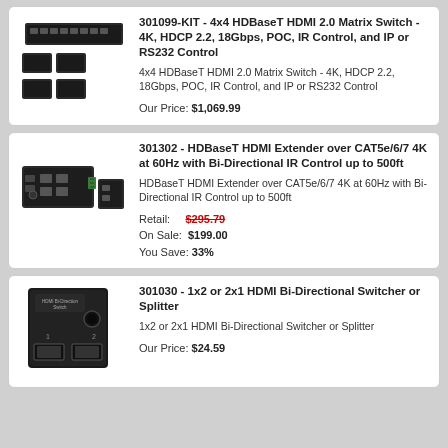[Figure (photo): 4x4 HDBaseT HDMI Matrix Switch product photo showing a rack unit and four extender units]
301099-KIT - 4x4 HDBaseT HDMI 2.0 Matrix Switch - 4K, HDCP 2.2, 18Gbps, POC, IR Control, and IP or RS232 Control
4x4 HDBaseT HDMI 2.0 Matrix Switch - 4K, HDCP 2.2, 18Gbps, POC, IR Control, and IP or RS232 Control
Our Price: $1,069.99
[Figure (photo): HDBaseT HDMI Extender product photo showing two black box units]
301302 - HDBaseT HDMI Extender over CAT5e/6/7 4K at 60Hz with Bi-Directional IR Control up to 500ft
HDBaseT HDMI Extender over CAT5e/6/7 4K at 60Hz with Bi-Directional IR Control up to 500ft
Retail: $295.79
On Sale: $199.00
You Save: 33%
[Figure (photo): 1x2 or 2x1 HDMI Bi-Directional Switcher or Splitter product photo showing a small black box device]
301030 - 1x2 or 2x1 HDMI Bi-Directional Switcher or Splitter
1x2 or 2x1 HDMI Bi-Directional Switcher or Splitter
Our Price: $24.59